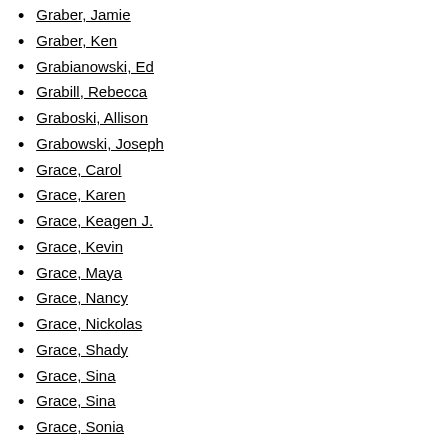Graber, Jamie
Graber, Ken
Grabianowski, Ed
Grabill, Rebecca
Graboski, Allison
Grabowski, Joseph
Grace, Carol
Grace, Karen
Grace, Keagen J.
Grace, Kevin
Grace, Maya
Grace, Nancy
Grace, Nickolas
Grace, Shady
Grace, Sina
Grace, Sina
Grace, Sonia